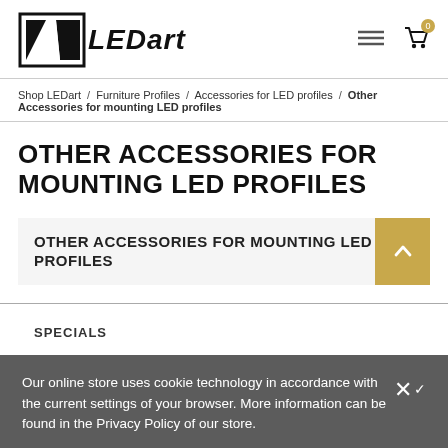[Figure (logo): LEDart logo with geometric arrow/stripe design and bold italic LEDart text]
Shop LEDart / Furniture Profiles / Accessories for LED profiles / Other Accessories for mounting LED profiles
OTHER ACCESSORIES FOR MOUNTING LED PROFILES
OTHER ACCESSORIES FOR MOUNTING LED PROFILES
SPECIALS
Our online store uses cookie technology in accordance with the current settings of your browser. More information can be found in the Privacy Policy of our store.